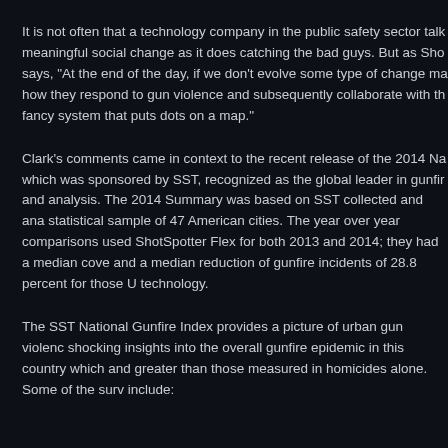It is not often that a technology company in the public safety sector talk meaningful social change as it does catching the bad guys. But as Sho says, "At the end of the day, if we don't evolve some type of change ma how they respond to gun violence and subsequently collaborate with th fancy system that puts dots on a map."
Clark's comments came in context to the recent release of the 2014 Na which was sponsored by SST, recognized as the global leader in gunfir and analysis. The 2014 Summary was based on SST collected and ana statistical sample of 47 American cities. The year over year comparison used ShotSpotter Flex for both 2013 and 2014; they had a median cove and a median reduction of gunfire incidents of 28.8 percent for those U technology.
The SST National Gunfire Index provides a picture of urban gun violenc shocking insights into the overall gunfire epidemic in this country which and greater than those measured in homicides alone. Some of the surv include: